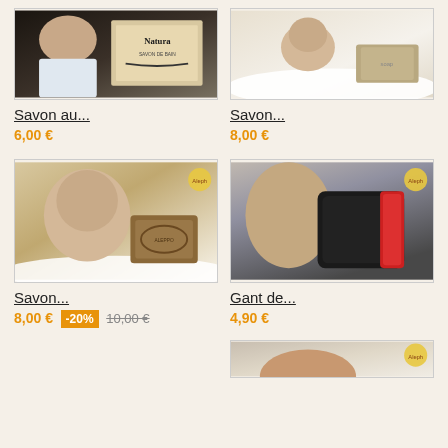[Figure (photo): Product photo: woman in bath with Natura soap bar]
Savon au...
6,00 €
[Figure (photo): Product photo: woman in bath with soap bar]
Savon...
8,00 €
[Figure (photo): Product photo: woman with Aleppo soap bar]
Savon...
8,00 €  -20%  10,00 €
[Figure (photo): Product photo: exfoliating glove (black with red) on arm]
Gant de...
4,90 €
[Figure (photo): Product photo: partial view of a product (bottom of page)]